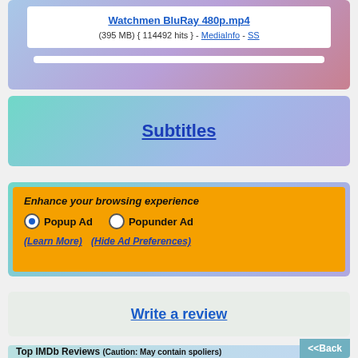Watchmen BluRay 480p.mp4
(395 MB) { 114492 hits } - MediaInfo - SS
Subtitles
Enhance your browsing experience
Popup Ad  Popunder Ad
(Learn More)  (Hide Ad Preferences)
Write a review
Top IMDb Reviews (Caution: May contain spoliers)